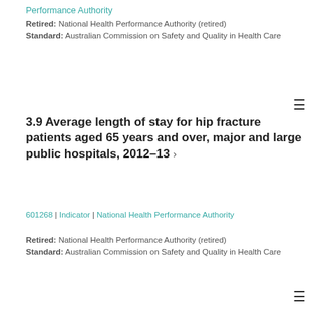Performance Authority
Retired: National Health Performance Authority (retired)
Standard: Australian Commission on Safety and Quality in Health Care
3.9 Average length of stay for hip fracture patients aged 65 years and over, major and large public hospitals, 2012–13 ›
601268 | Indicator | National Health Performance Authority
Retired: National Health Performance Authority (retired)
Standard: Australian Commission on Safety and Quality in Health Care